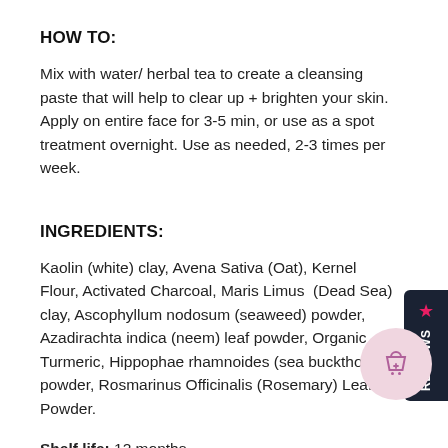HOW TO:
Mix with water/ herbal tea to create a cleansing paste that will help to clear up + brighten your skin. Apply on entire face for 3-5 min, or use as a spot treatment overnight. Use as needed, 2-3 times per week.
INGREDIENTS:
Kaolin (white) clay, Avena Sativa (Oat), Kernel Flour, Activated Charcoal, Maris Limus (Dead Sea) clay, Ascophyllum nodosum (seaweed) powder, Azadirachta indica (neem) leaf powder, Organic Turmeric, Hippophae rhamnoides (sea buckthorn) powder, Rosmarinus Officinalis (Rosemary) Leaf Powder.
Shelf life: 12 months
Our creations are completely natural, without chemical preservatives, they're meant to be enjoyed, not stored! A date